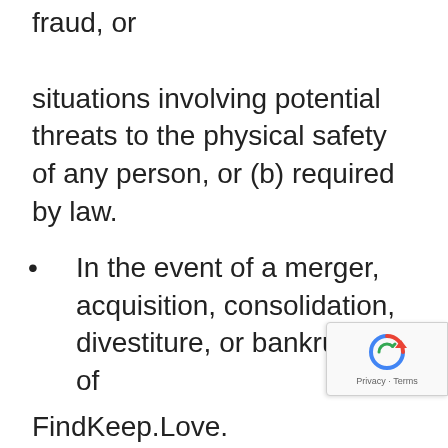fraud, or situations involving potential threats to the physical safety of any person, or (b) required by law.
In the event of a merger, acquisition, consolidation, divestiture, or bankruptcy of
FindKeep.Love.
Your submission to any other company or entity of your phone number through a
FindKeep.Love website will be